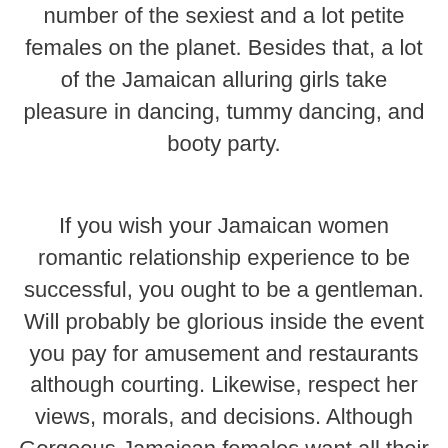number of the sexiest and a lot petite females on the planet. Besides that, a lot of the Jamaican alluring girls take pleasure in dancing, tummy dancing, and booty party.
If you wish your Jamaican women romantic relationship experience to be successful, you ought to be a gentleman. Will probably be glorious inside the event you pay for amusement and restaurants although courting. Likewise, respect her views, morals, and decisions. Although Gorgeous Jamaican females want all their guys to secret the household, they cannot appear to be submissive. Jamaican girlfriends or wives won't ever nonproductive in the home playing the